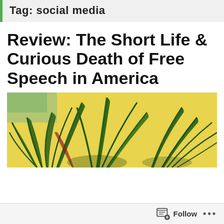Tag: social media
Review: The Short Life & Curious Death of Free Speech in America
[Figure (illustration): A colorful painting/illustration of tropical palm plants with long green spiky leaves against a bright yellow background, with partial view of a structure in the upper left.]
Follow ...